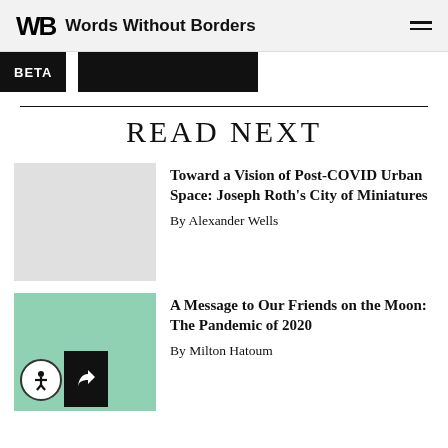Words Without Borders
[Figure (screenshot): Beta bar with black label and black rectangle]
READ NEXT
[Figure (photo): Light gray placeholder image thumbnail for first article]
Toward a Vision of Post-COVID Urban Space: Joseph Roth's City of Miniatures
By Alexander Wells
[Figure (illustration): Green book cover thumbnail with accessibility icon and share icon]
A Message to Our Friends on the Moon: The Pandemic of 2020
By Milton Hatoum